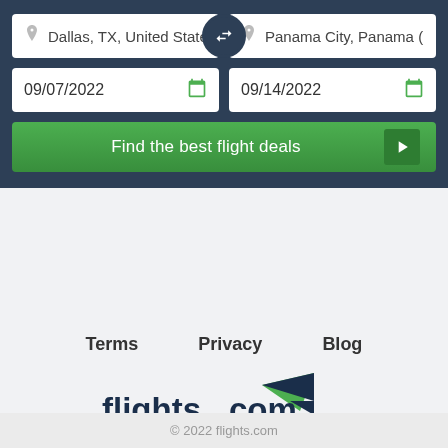Dallas, TX, United States
Panama City, Panama (P
09/07/2022
09/14/2022
Find the best flight deals
Terms
Privacy
Blog
[Figure (logo): flights.com by Expedia logo with green and dark blue paper plane icon]
© 2022 flights.com